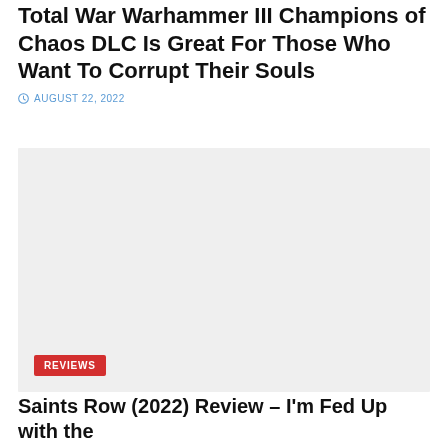Total War Warhammer III Champions of Chaos DLC Is Great For Those Who Want To Corrupt Their Souls
AUGUST 22, 2022
[Figure (photo): Large placeholder image with light gray background and a red REVIEWS badge in the lower left corner]
Saints Row (2022) Review – I'm Fed Up with the